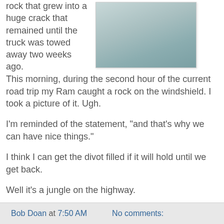rock that grew into a huge crack that remained until the truck was towed away two weeks ago.
[Figure (photo): A blurry outdoor photo showing a grey-blue sky or windshield with misty/hazy background.]
This morning, during the second hour of the current road trip my Ram caught a rock on the windshield. I took a picture of it. Ugh.
I'm reminded of the statement, "and that's why we can have nice things."
I think I can get the divot filled if it will hold until we get back.
Well it's a jungle on the highway.
-- Bob Doan, writing from somewhere in North Carolina near mile marker 152
Bob Doan at 7:50 AM    No comments: